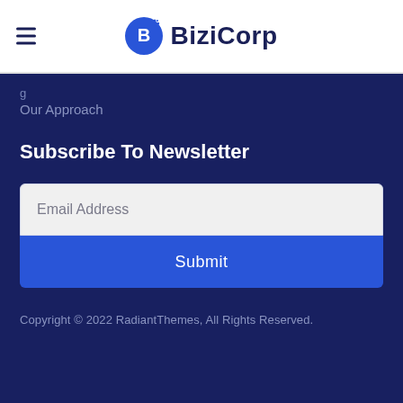[Figure (logo): BiziCorp logo with blue circle icon containing letter B with dot pattern, and hamburger menu icon on the left]
Our Approach
Subscribe To Newsletter
Email Address
Submit
Copyright © 2022 RadiantThemes, All Rights Reserved.